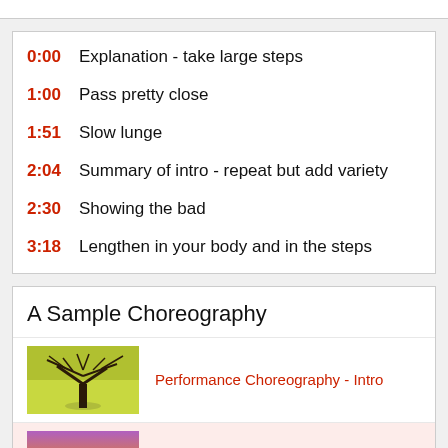0:00 Explanation - take large steps
1:00 Pass pretty close
1:51 Slow lunge
2:04 Summary of intro - repeat but add variety
2:30 Showing the bad
3:18 Lengthen in your body and in the steps
A Sample Choreography
Performance Choreography - Intro
Part 1 - Intro